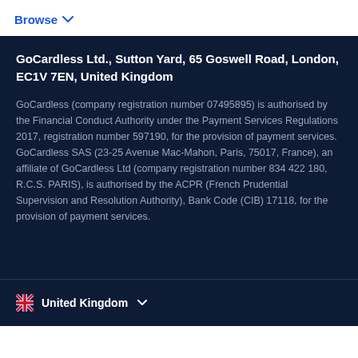Browse
GoCardless Ltd., Sutton Yard, 65 Goswell Road, London, EC1V 7EN, United Kingdom
GoCardless (company registration number 07495895) is authorised by the Financial Conduct Authority under the Payment Services Regulations 2017, registration number 597190, for the provision of payment services. GoCardless SAS (23-25 Avenue Mac-Mahon, Paris, 75017, France), an affiliate of GoCardless Ltd (company registration number 834 422 180, R.C.S. PARIS), is authorised by the ACPR (French Prudential Supervision and Resolution Authority), Bank Code (CIB) 17118, for the provision of payment services.
United Kingdom